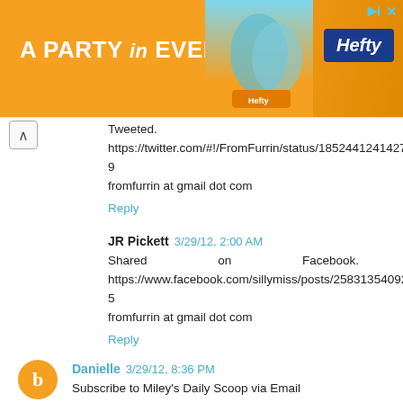[Figure (screenshot): Orange Hefty brand advertisement banner: 'A PARTY in EVERY PACK' with Hefty logo and product image]
Tweeted.
https://twitter.com/#!/FromFurrin/status/18524412414276812
9
fromfurrin at gmail dot com
Reply
JR Pickett  3/29/12, 2:00 AM
Shared on Facebook.
https://www.facebook.com/sillymiss/posts/258313540927125
fromfurrin at gmail dot com
Reply
Danielle  3/29/12, 8:36 PM
Subscribe to Miley's Daily Scoop via Email